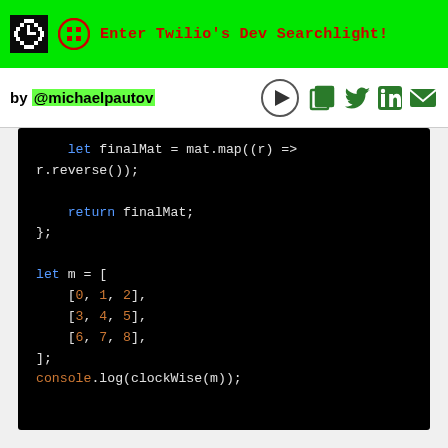Enter Twilio's Dev Searchlight!
by @michaelpautov
[Figure (screenshot): Code snippet on dark background showing JavaScript code: let finalMat = mat.map((r) => r.reverse()); return finalMat; }; let m = [ [0, 1, 2], [3, 4, 5], [6, 7, 8], ]; console.log(clockWise(m));]